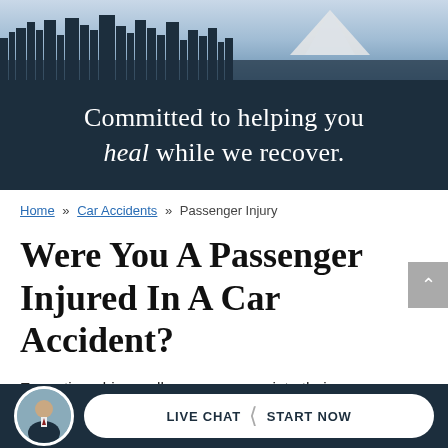[Figure (photo): City skyline photograph showing downtown buildings with a snow-capped mountain (Mt. Rainier) in the background, sky with light clouds.]
Committed to helping you heal while we recover.
Home » Car Accidents » Passenger Injury
Were You A Passenger Injured In A Car Accident?
Every time drivers allow passengers into their
[Figure (photo): Circular avatar photo of an attorney in a suit.]
LIVE CHAT | START NOW